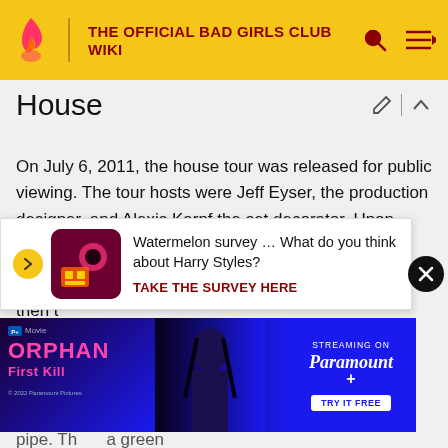THE OFFICIAL BAD GIRLS CLUB WIKI
House
On July 6, 2011, the house tour was released for public viewing. The tour hosts were Jeff Eyser, the production designer, and Alexis Karpf the set decorator. Upon entering the house, viewers are shown the production group areas, a fire pole, and production areas. then the living room/lounge area is shown, a place where the girls interact with each other without communicating season. They were welcomed to an in-door bar, a home computer and a rubber pipe. There is also a green house that are welcomed to an in-door bar, a home computer and a
[Figure (screenshot): Watermelon survey ad: 'Watermelon survey … What do you think about Harry Styles? TAKE THE SURVEY HERE']
[Figure (screenshot): Orphan: First Kill movie ad — Paramount+ streaming advertisement]